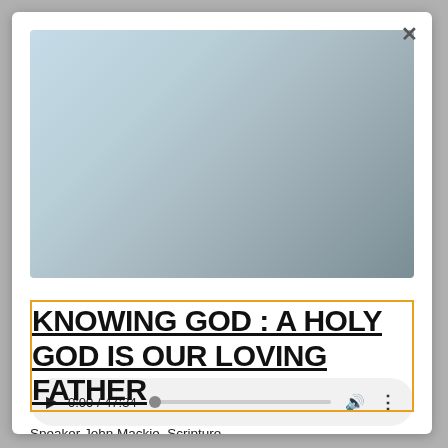[Figure (screenshot): Video player with gradient background (light blue-gray) and playback controls bar showing play button, time 0:00 / 47:34, progress bar, volume icon, and more options icon]
KNOWING GOD : A HOLY GOD IS OUR LOVING FATHER
Speaker John Mackie  Scripture Isaiah 6: 1-8, Luke 15: 1, 2, 11-32  Keywords Holi...